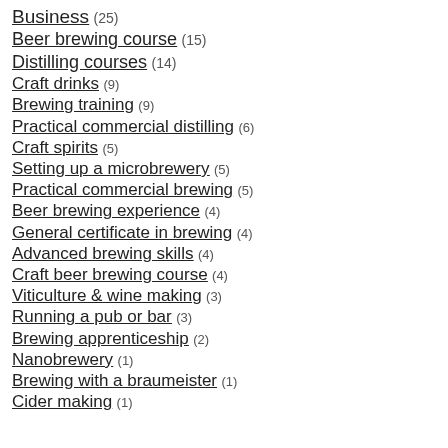Business (25)
Beer brewing course (15)
Distilling courses (14)
Craft drinks (9)
Brewing training (9)
Practical commercial distilling (6)
Craft spirits (5)
Setting up a microbrewery (5)
Practical commercial brewing (5)
Beer brewing experience (4)
General certificate in brewing (4)
Advanced brewing skills (4)
Craft beer brewing course (4)
Viticulture & wine making (3)
Running a pub or bar (3)
Brewing apprenticeship (2)
Nanobrewery (1)
Brewing with a braumeister (1)
Cider making (1)